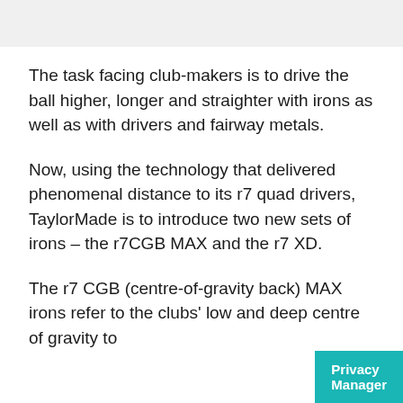The task facing club-makers is to drive the ball higher, longer and straighter with irons as well as with drivers and fairway metals.
Now, using the technology that delivered phenomenal distance to its r7 quad drivers, TaylorMade is to introduce two new sets of irons – the r7CGB MAX and the r7 XD.
The r7 CGB (centre-of-gravity back) MAX irons refer to the clubs' low and deep centre of gravity to